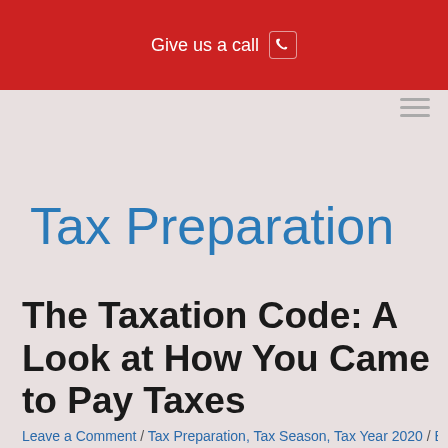Give us a call
Tax Preparation
The Taxation Code: A Look at How You Came to Pay Taxes
Leave a Comment / Tax Preparation, Tax Season, Tax Year 2020 / By